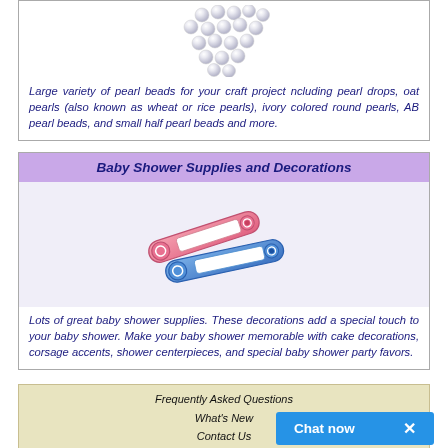[Figure (illustration): Scattered pearl beads, small round white/silvery pearls]
Large variety of pearl beads for your craft project ncluding pearl drops, oat pearls (also known as wheat or rice pearls), ivory colored round pearls, AB pearl beads, and small half pearl beads and more.
Baby Shower Supplies and Decorations
[Figure (illustration): Pink and blue baby safety pins crossed over each other]
Lots of great baby shower supplies. These decorations add a special touch to your baby shower. Make your baby shower memorable with cake decorations, corsage accents, shower centerpieces, and special baby shower party favors.
Frequently Asked Questions
What's New
Contact Us
Chat now